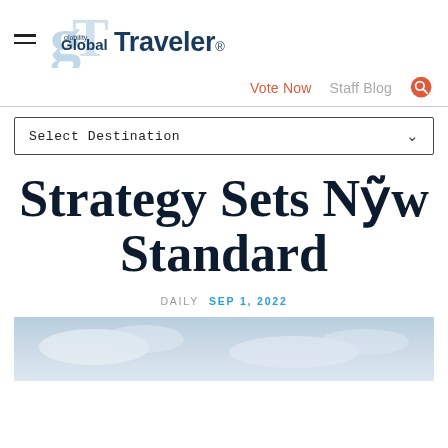Global Traveler
Vote Now  Staff Blog
Select Destination
Strategy Sets New Standard
DAILY  SEP 1, 2022
[Figure (photo): Sky background image, light blue/grey sky with clouds]